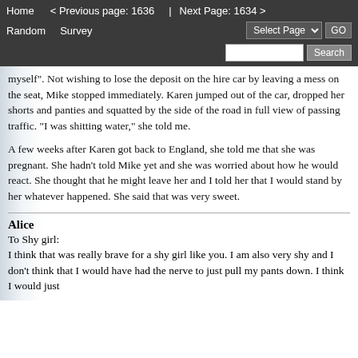Home   < Previous page: 1636  |  Next Page: 1634 >   Random   Survey   Select Page   GO   Search
myself". Not wishing to lose the deposit on the hire car by leaving a mess on the seat, Mike stopped immediately. Karen jumped out of the car, dropped her shorts and panties and squatted by the side of the road in full view of passing traffic. "I was shitting water," she told me.
A few weeks after Karen got back to England, she told me that she was pregnant. She hadn't told Mike yet and she was worried about how he would react. She thought that he might leave her and I told her that I would stand by her whatever happened. She said that was very sweet.
Alice
To Shy girl:
I think that was really brave for a shy girl like you. I am also very shy and I don't think that I would have had the nerve to just pull my pants down. I think I would just